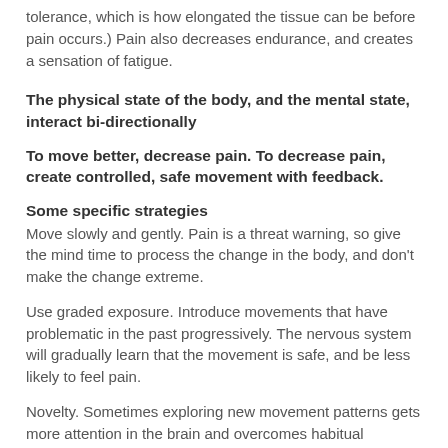tolerance, which is how elongated the tissue can be before pain occurs.) Pain also decreases endurance, and creates a sensation of fatigue.
The physical state of the body, and the mental state, interact bi-directionally
To move better, decrease pain. To decrease pain, create controlled, safe movement with feedback.
Some specific strategies
Move slowly and gently. Pain is a threat warning, so give the mind time to process the change in the body, and don't make the change extreme.
Use graded exposure. Introduce movements that have problematic in the past progressively. The nervous system will gradually learn that the movement is safe, and be less likely to feel pain.
Novelty. Sometimes exploring new movement patterns gets more attention in the brain and overcomes habitual patterns